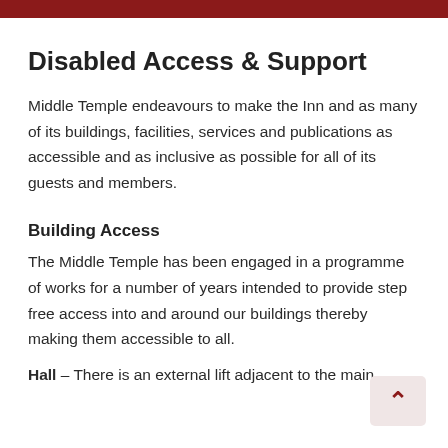Disabled Access & Support
Middle Temple endeavours to make the Inn and as many of its buildings, facilities, services and publications as accessible and as inclusive as possible for all of its guests and members.
Building Access
The Middle Temple has been engaged in a programme of works for a number of years intended to provide step free access into and around our buildings thereby making them accessible to all.
Hall – There is an external lift adjacent to the main